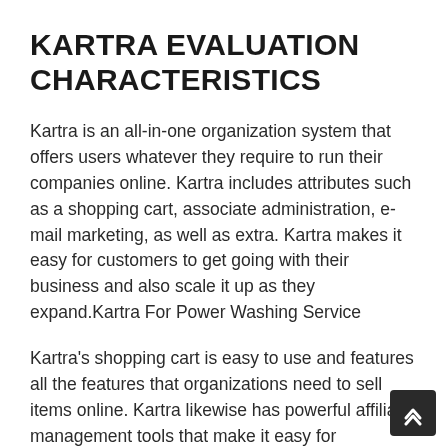KARTRA EVALUATION CHARACTERISTICS
Kartra is an all-in-one organization system that offers users whatever they require to run their companies online. Kartra includes attributes such as a shopping cart, associate administration, e-mail marketing, as well as extra. Kartra makes it easy for customers to get going with their business and also scale it up as they expand.Kartra For Power Washing Service
Kartra's shopping cart is easy to use and features all the features that organizations need to sell items online. Kartra likewise has powerful affiliate management tools that make it easy for organizations to recruit associates and also track their sales. Kartra's email advertising tool allows services to send out automatic e-mails to their consumers as well as prospects.